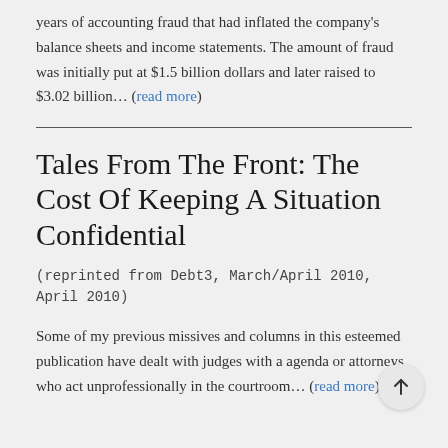years of accounting fraud that had inflated the company's balance sheets and income statements. The amount of fraud was initially put at $1.5 billion dollars and later raised to $3.02 billion... (read more)
Tales From The Front: The Cost Of Keeping A Situation Confidential
(reprinted from Debt3, March/April 2010, April 2010)
Some of my previous missives and columns in this esteemed publication have dealt with judges with a agenda or attorneys who act unprofessionally in the courtroom... (read more)